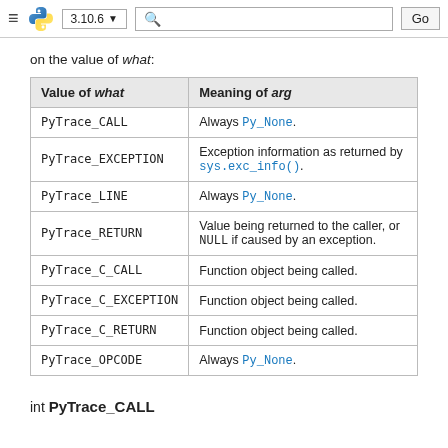≡ [Python logo] 3.10.6 ▼ [search] Go
on the value of what:
| Value of what | Meaning of arg |
| --- | --- |
| PyTrace_CALL | Always Py_None. |
| PyTrace_EXCEPTION | Exception information as returned by sys.exc_info(). |
| PyTrace_LINE | Always Py_None. |
| PyTrace_RETURN | Value being returned to the caller, or NULL if caused by an exception. |
| PyTrace_C_CALL | Function object being called. |
| PyTrace_C_EXCEPTION | Function object being called. |
| PyTrace_C_RETURN | Function object being called. |
| PyTrace_OPCODE | Always Py_None. |
int PyTrace_CALL